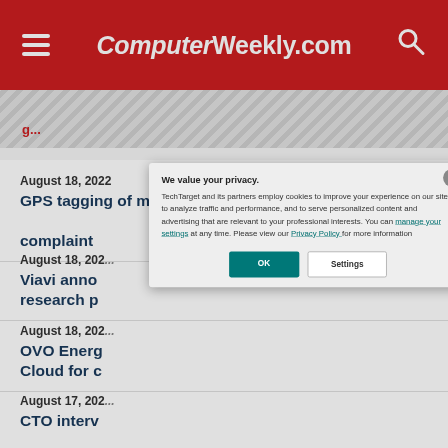ComputerWeekly.com
August 18, 2022 — GPS tagging of migrants breaches UK data protection laws, Privacy International complaint
August 18, 2022 — Viavi announces research programme
August 18, 2022 — OVO Energy Cloud for c...
August 17, 2022 — CTO interv...
We value your privacy. TechTarget and its partners employ cookies to improve your experience on our site, to analyze traffic and performance, and to serve personalized content and advertising that are relevant to your professional interests. You can manage your settings at any time. Please view our Privacy Policy for more information